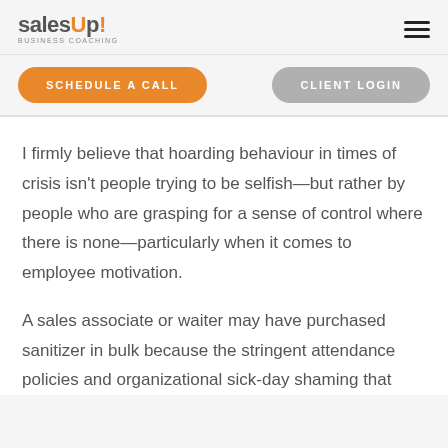salesUp! BUSINESS COACHING
SCHEDULE A CALL
CLIENT LOGIN
I firmly believe that hoarding behaviour in times of crisis isn't people trying to be selfish—but rather by people who are grasping for a sense of control where there is none—particularly when it comes to employee motivation.
A sales associate or waiter may have purchased sanitizer in bulk because the stringent attendance policies and organizational sick-day shaming that